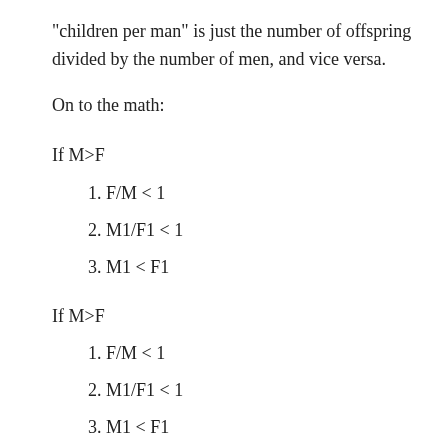“children per man” is just the number of offspring divided by the number of men, and vice versa.
On to the math:
If M>F
1. F/M < 1
2. M1/F1 < 1
3. M1 < F1
If M>F
1. F/M < 1
2. M1/F1 < 1
3. M1 < F1